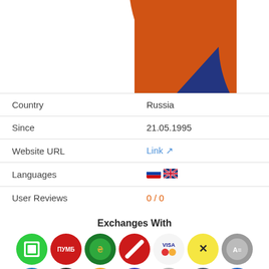[Figure (pie-chart): Partial pie chart showing a large orange segment and a small dark blue segment, cropped at top]
| Field | Value |
| --- | --- |
| Country | Russia |
| Since | 21.05.1995 |
| Website URL | Link |
| Languages | [RU flag] [UK flag] |
| User Reviews | 0 / 0 |
Exchanges With
[Figure (infographic): Grid of exchange/payment method logos including: green square icon, ПУМБ (red), green circle icon, red Visa/Mastercard, Raiffeisen X, silver coin, P (blue), Zcash (gold), Bitcoin (gold), Ethereum (blue), Litecoin (silver), Dogecoin (slate), blue grid coin, orange wallet, orange chat bubble, dark coin, Bitcoin Cash (gold), NIH (dark), PM (red), green S dollar, TETHERERC20 (text placeholder), EOS (dark), Monero (orange), PM (red), Ripple (blue)]